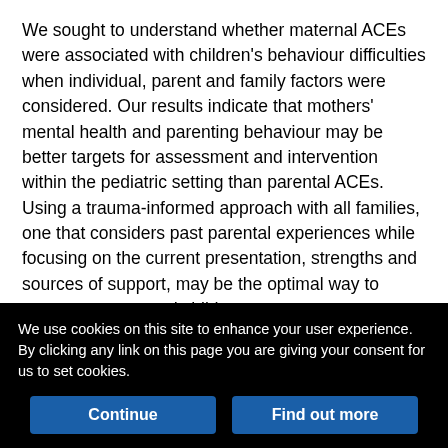We sought to understand whether maternal ACEs were associated with children's behaviour difficulties when individual, parent and family factors were considered. Our results indicate that mothers' mental health and parenting behaviour may be better targets for assessment and intervention within the pediatric setting than parental ACEs. Using a trauma-informed approach with all families, one that considers past parental experiences while focusing on the current presentation, strengths and sources of support, may be the optimal way to support parents and children.
Acknowledgements
The authors are grateful to all the families who took part in this study
We use cookies on this site to enhance your user experience. By clicking any link on this page you are giving your consent for us to set cookies.